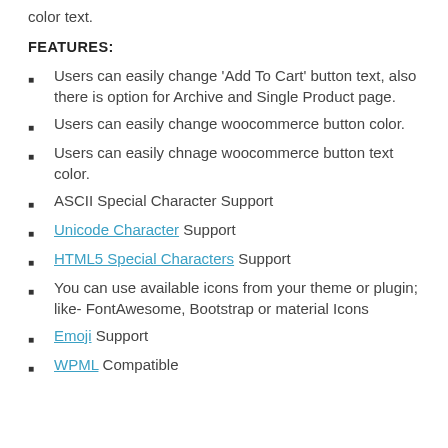color text.
FEATURES:
Users can easily change 'Add To Cart' button text, also there is option for Archive and Single Product page.
Users can easily change woocommerce button color.
Users can easily chnage woocommerce button text color.
ASCII Special Character Support
Unicode Character Support
HTML5 Special Characters Support
You can use available icons from your theme or plugin; like- FontAwesome, Bootstrap or material Icons
Emoji Support
WPML Compatible